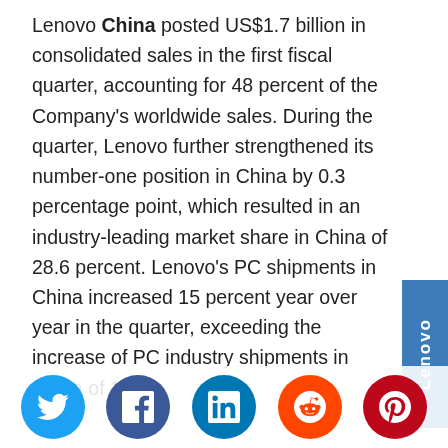Lenovo China posted US$1.7 billion in consolidated sales in the first fiscal quarter, accounting for 48 percent of the Company's worldwide sales. During the quarter, Lenovo further strengthened its number-one position in China by 0.3 percentage point, which resulted in an industry-leading market share in China of 28.6 percent. Lenovo's PC shipments in China increased 15 percent year over year in the quarter, exceeding the increase of PC industry shipments in China of 14 percent.
[Figure (logo): Lenovo vertical sidebar logo in blue]